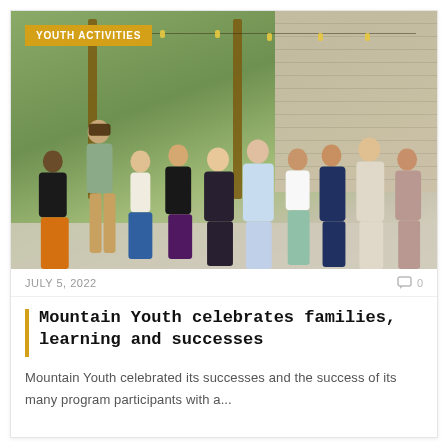[Figure (photo): Group photo of approximately 11 people standing outdoors in front of a stone wall with string lights and wooden posts, green hillside in background. A yellow badge in top-left reads 'YOUTH ACTIVITIES'.]
JULY 5, 2022
0
Mountain Youth celebrates families, learning and successes
Mountain Youth celebrated its successes and the success of its many program participants with a...